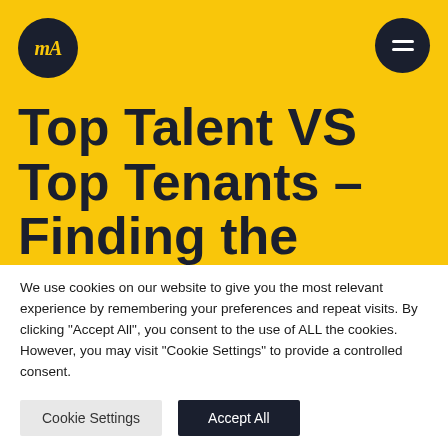[Figure (logo): Circular dark navy logo with stylized cursive 'mA' letters in yellow/gold color]
[Figure (illustration): Dark circular hamburger menu icon (three horizontal lines) on dark navy background]
Top Talent VS Top Tenants – Finding the best people.
We use cookies on our website to give you the most relevant experience by remembering your preferences and repeat visits. By clicking "Accept All", you consent to the use of ALL the cookies. However, you may visit "Cookie Settings" to provide a controlled consent.
Cookie Settings
Accept All